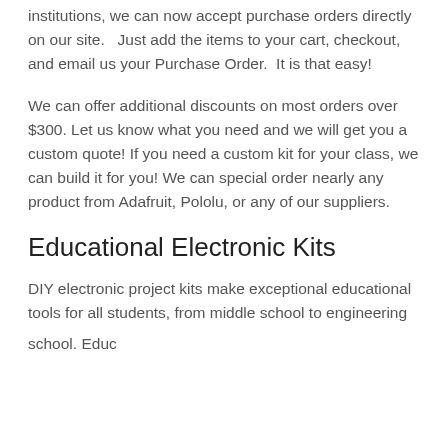institutions, we can now accept purchase orders directly on our site.   Just add the items to your cart, checkout, and email us your Purchase Order.  It is that easy!
We can offer additional discounts on most orders over $300. Let us know what you need and we will get you a custom quote! If you need a custom kit for your class, we can build it for you! We can special order nearly any product from Adafruit, Pololu, or any of our suppliers.
Educational Electronic Kits
DIY electronic project kits make exceptional educational tools for all students, from middle school to engineering school. Educators can use the kits for...